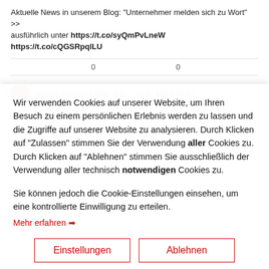Aktuelle News in unserem Blog: "Unternehmer melden sich zu Wort" >> ausführlich unter https://t.co/syQmPvLneW https://t.co/cQGSRpqlLU
Untern.verband Brb.-Bln. · 06.07.2022 06:07
Wir verwenden Cookies auf unserer Website, um Ihren Besuch zu einem persönlichen Erlebnis werden zu lassen und die Zugriffe auf unserer Website zu analysieren. Durch Klicken auf "Zulassen" stimmen Sie der Verwendung aller Cookies zu. Durch Klicken auf "Ablehnen" stimmen Sie ausschließlich der Verwendung aller technisch notwendigen Cookies zu.
Sie können jedoch die Cookie-Einstellungen einsehen, um eine kontrollierte Einwilligung zu erteilen.
Mehr erfahren →
Einstellungen
Ablehnen
Zulassen